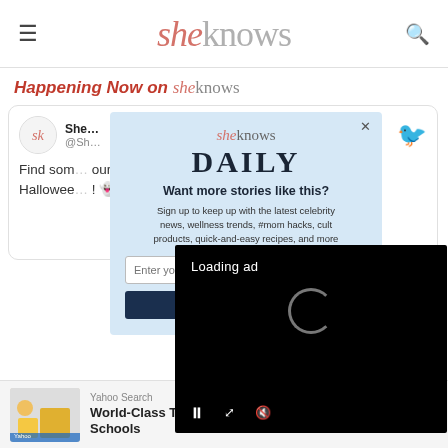sheknows
Happening Now on sheknows
SheKnows @Sh... Find som... our Hallowee... !
[Figure (screenshot): Newsletter popup overlay with sheknows DAILY logo, headline 'Want more stories like this?', body text about signing up for celebrity news, wellness trends, #mom hacks, cult products, quick-and-easy recipes, and more, plus email input and subscribe button]
[Figure (screenshot): Black video player overlay showing 'Loading ad' text and a large C spinner icon with video playback controls (pause, fullscreen, mute) at the bottom]
[Figure (screenshot): Bottom banner advertisement for Yahoo Search - World-Class Trade Schools with an Open button]